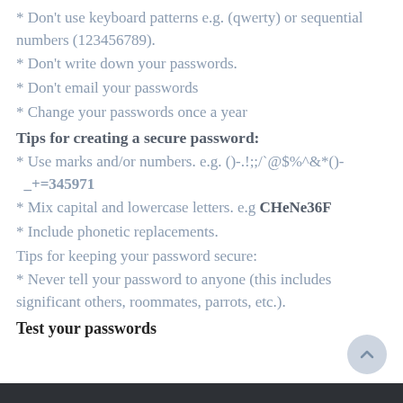* Don't use keyboard patterns e.g. (qwerty) or sequential numbers (123456789).
* Don't write down your passwords.
* Don't email your passwords
* Change your passwords once a year
Tips for creating a secure password:
* Use marks and/or numbers. e.g. ()-.!;;/`@$%^&*()-_+=345971
* Mix capital and lowercase letters. e.g CHeNe36F
* Include phonetic replacements.
Tips for keeping your password secure:
* Never tell your password to anyone (this includes significant others, roommates, parrots, etc.).
Test your passwords